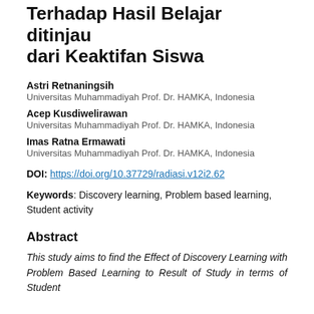Terhadap Hasil Belajar ditinjau dari Keaktifan Siswa
Astri Retnaningsih
Universitas Muhammadiyah Prof. Dr. HAMKA, Indonesia
Acep Kusdiwelirawan
Universitas Muhammadiyah Prof. Dr. HAMKA, Indonesia
Imas Ratna Ermawati
Universitas Muhammadiyah Prof. Dr. HAMKA, Indonesia
DOI: https://doi.org/10.37729/radiasi.v12i2.62
Keywords: Discovery learning, Problem based learning, Student activity
Abstract
This study aims to find the Effect of Discovery Learning with Problem Based Learning to Result of Study in terms of Student